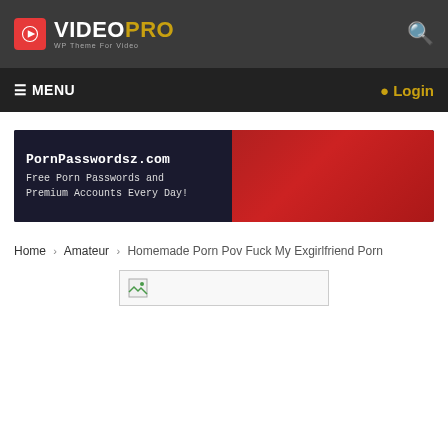[Figure (logo): VideoPro logo with red icon and gold PRO text on dark background]
≡ MENU    👤 Login
[Figure (photo): PornPasswordsz.com banner ad - Free Porn Passwords and Premium Accounts Every Day!]
Home > Amateur > Homemade Porn Pov Fuck My Exgirlfriend Porn
[Figure (other): Broken image placeholder]